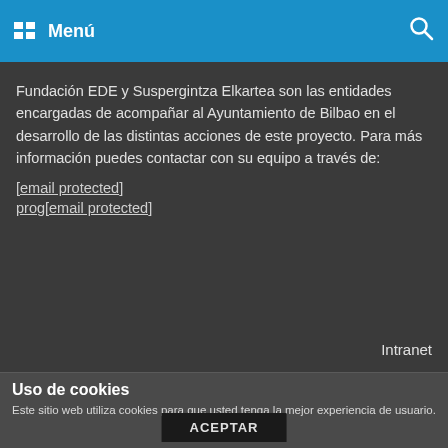Menú
Fundación EDE y Suspergintza Elkartea son las entidades encargadas de acompañar al Ayuntamiento de Bilbao en el desarrollo de las distintas acciones de este proyecto. Para más información puedes contactar con su equipo a través de:
[email protected]
prog[email protected]
Intranet
Uso de cookies
Este sitio web utiliza cookies para que usted tenga la mejor experiencia de usuario. Si continúa navegando está dando su consentimiento para la aceptación de las mencionadas cookies y la aceptación de nuestra política de cookies, pinche el enlace para mayor información.
ACEPTAR